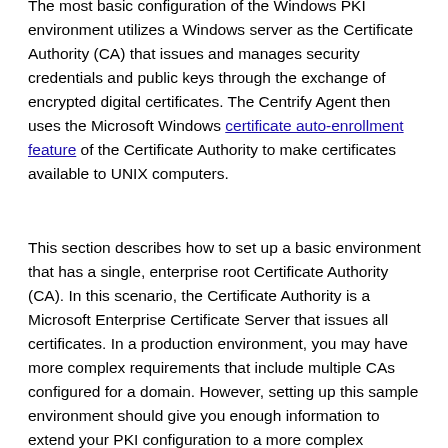The most basic configuration of the Windows PKI environment utilizes a Windows server as the Certificate Authority (CA) that issues and manages security credentials and public keys through the exchange of encrypted digital certificates. The Centrify Agent then uses the Microsoft Windows certificate auto-enrollment feature of the Certificate Authority to make certificates available to UNIX computers.
This section describes how to set up a basic environment that has a single, enterprise root Certificate Authority (CA). In this scenario, the Certificate Authority is a Microsoft Enterprise Certificate Server that issues all certificates. In a production environment, you may have more complex requirements that include multiple CAs configured for a domain. However, setting up this sample environment should give you enough information to extend your PKI configuration to a more complex...